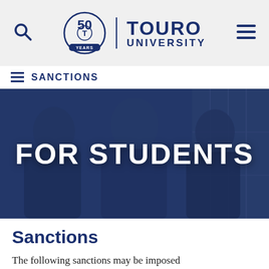Touro University — 50 Years
SANCTIONS
[Figure (photo): Three male students standing near lockers, overlaid with a dark blue tint. Large white bold text reads 'FOR STUDENTS' centered over the image.]
Sanctions
The following sanctions may be imposed